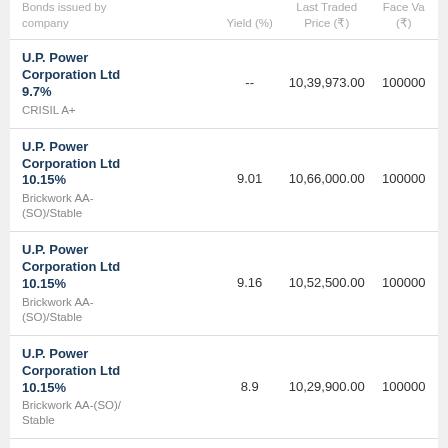| Bonds issued by company | Yield (%) | Last Traded Price (₹) | Face Va (₹) |
| --- | --- | --- | --- |
| U.P. Power Corporation Ltd 9.7% CRISIL A+ | -- | 10,39,973.00 | 100000 |
| U.P. Power Corporation Ltd 10.15% Brickwork AA-(SO)/Stable | 9.01 | 10,66,000.00 | 100000 |
| U.P. Power Corporation Ltd 10.15% Brickwork AA-(SO)/Stable | 9.16 | 10,52,500.00 | 100000 |
| U.P. Power Corporation Ltd 10.15% Brickwork AA-(SO)/Stable | 8.9 | 10,29,900.00 | 100000 |
| U.P. Power Corporation Ltd | -- | 10,40,762.40 | 100000 |